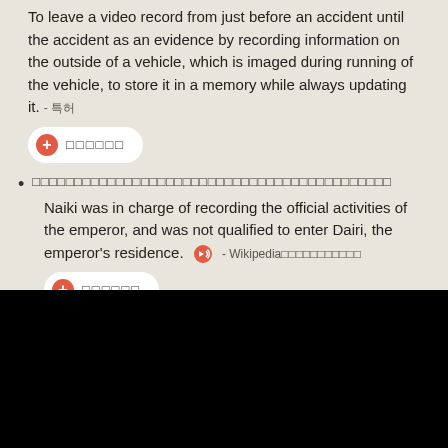To leave a video record from just before an accident until the accident as an evidence by recording information on the outside of a vehicle, which is imaged during running of the vehicle, to store it in a memory while always updating it. - 특허
나이키는 천황의 공식 활동을 기록하는 임무를 맡았으며 천황의 거소인 다이리에는 출입할 자격이 없었다.
Naiki was in charge of recording the official activities of the emperor, and was not qualified to enter Dairi, the emperor's residence. - Wikipedia나이키(일본어)
건물의 설계 변경 기록을 적은 데이터량으로 간단하게 남길 수 있는 건물 설계 지원 장치를 제공하는 것.
To provide a building design support device capable of easily leaving a design change record in a small amount of data. - 특허